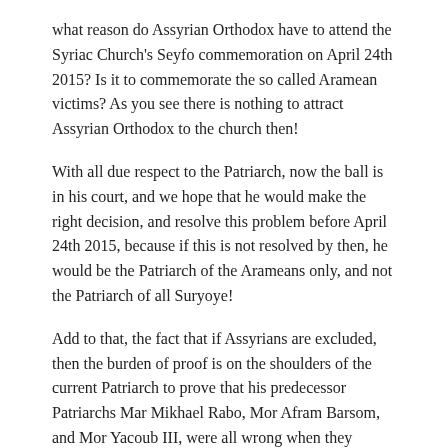what reason do Assyrian Orthodox have to attend the Syriac Church's Seyfo commemoration on April 24th 2015? Is it to commemorate the so called Aramean victims? As you see there is nothing to attract Assyrian Orthodox to the church then!
With all due respect to the Patriarch, now the ball is in his court, and we hope that he would make the right decision, and resolve this problem before April 24th 2015, because if this is not resolved by then, he would be the Patriarch of the Arameans only, and not the Patriarch of all Suryoye!
Add to that, the fact that if Assyrians are excluded, then the burden of proof is on the shoulders of the current Patriarch to prove that his predecessor Patriarchs Mar Mikhael Rabo, Mor Afram Barsom, and Mor Yacoub III, were all wrong when they mentioned Assyrians as part of the Syriac Orthodox Church.
Continued in Parts: IV, & V.